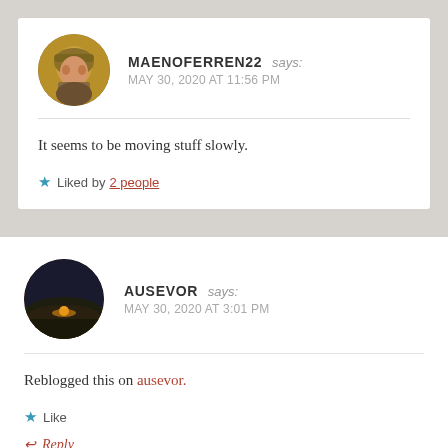MAENOFERREN22 says: MAY 30, 2020 AT 11:56 PM
It seems to be moving stuff slowly.
★ Liked by 2 people
AUSEVOR says: MAY 30, 2020 AT 3:01 PM
Reblogged this on ausevor.
★ Like
↩ Reply